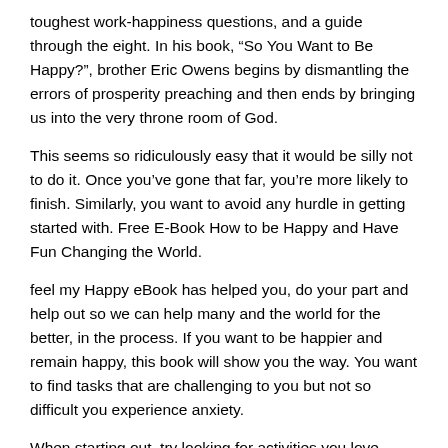toughest work-happiness questions, and a guide through the eight. In his book, “So You Want to Be Happy?”, brother Eric Owens begins by dismantling the errors of prosperity preaching and then ends by bringing us into the very throne room of God.
This seems so ridiculously easy that it would be silly not to do it. Once you've gone that far, you’re more likely to finish. Similarly, you want to avoid any hurdle in getting started with. Free E-Book How to be Happy and Have Fun Changing the World.
feel my Happy eBook has helped you, do your part and help out so we can help many and the world for the better, in the process. If you want to be happier and remain happy, this book will show you the way. You want to find tasks that are challenging to you but not so difficult you experience anxiety.
When starting out, try looking for activities you love doing and that use your natural talents. As you get better at losing yourself in a task, you can try finding flow in more mundane activities.
If you think you want to be happy then you can be happy, no matter